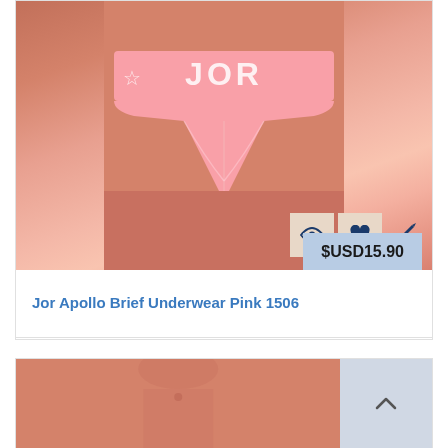[Figure (photo): Product photo of pink Jor Apollo Brief Underwear on a male model, showing the pink waistband with JOR branding. Action icons (eye, heart, edit) overlay the lower right of the image. A price tag showing $USD15.90 overlays the bottom right.]
Jor Apollo Brief Underwear Pink 1506
[Figure (photo): Partial product photo of another underwear item on a male model, partially visible at the bottom of the page. A scroll-up button (chevron up) is visible in the top right of this card.]